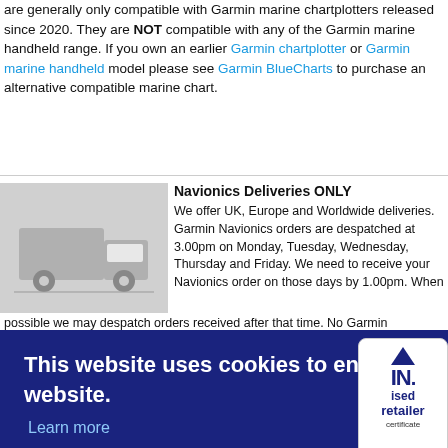are generally only compatible with Garmin marine chartplotters released since 2020. They are NOT compatible with any of the Garmin marine handheld range. If you own an earlier Garmin chartplotter or Garmin marine handheld model please see Garmin BlueCharts to purchase an alternative compatible marine chart.
[Figure (illustration): Delivery truck icon on grey background]
Navionics Deliveries ONLY
We offer UK, Europe and Worldwide deliveries. Garmin Navionics orders are despatched at 3.00pm on Monday, Tuesday, Wednesday, Thursday and Friday. We need to receive your Navionics order on those days by 1.00pm. When possible we may despatch orders received after that time. No Garmin Navionics marine chart orders are despatched after 3.00pm and no orders are despatched on Saturday or Sunday.
rking day
livery
This website uses cookies to ensure you get the best experience on our website.
Learn more
Accept
[Figure (logo): Garmin Navionics authorised retailer certificate badge]
edition of the software. Beware of other websites selling older mapping that is not the current version of the software.